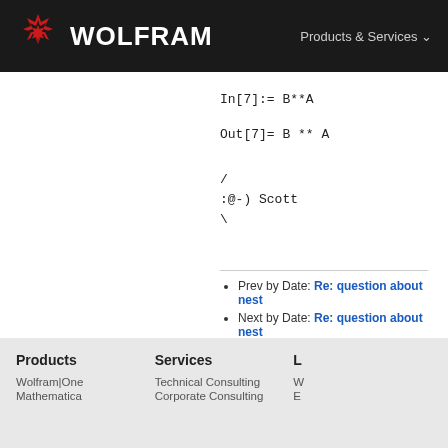WOLFRAM  Products & Services
/
:@-) Scott
\
Prev by Date: Re: question about nest
Next by Date: Re: question about nest
Previous by thread: Question: how to get
Next by thread: Re: Question: how to get
Products  Services
Wolfram|One  Technical Consulting
Mathematics  Corporate Consulting